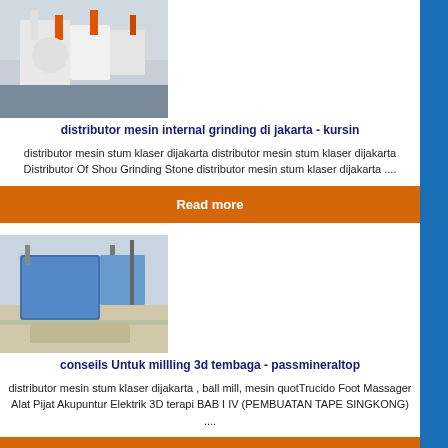[Figure (photo): Industrial grinding machine with white/grey equipment and orange/red pipes against sky]
distributor mesin internal grinding di jakarta - kursin
distributor mesin stum klaser dijakarta distributor mesin stum klaser dijakarta Distributor Of Shou Grinding Stone distributor mesin stum klaser dijakarta ....
Read more
[Figure (photo): Industrial facility or building under construction with blue structures and cranes]
conseils Untuk millling 3d tembaga - passmineraltop
distributor mesin stum klaser dijakarta , ball mill, mesin quotTrucido Foot Massager Alat Pijat Akupuntur Elektrik 3D terapi BAB I IV (PEMBUATAN TAPE SINGKONG) ....
Read more
[Figure (photo): Industrial machinery or equipment - partially visible at bottom of page]